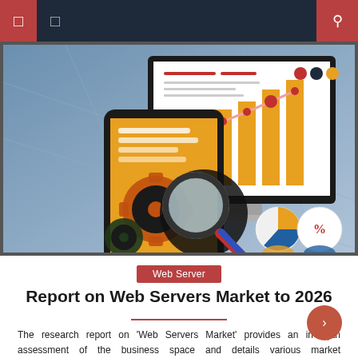Web Server
[Figure (illustration): Market research illustration showing a tablet device with gears and a magnifying glass, a desktop monitor displaying a bar chart with a line graph overlay, pie chart icons and a percentage symbol, set against a blue gradient background with financial chart elements.]
Web Server
Report on Web Servers Market to 2026
The research report on 'Web Servers Market' provides an in-depth assessment of the business space and details various market segmentations. The report cites that the market is expected to generate notable revenue, and exhibit